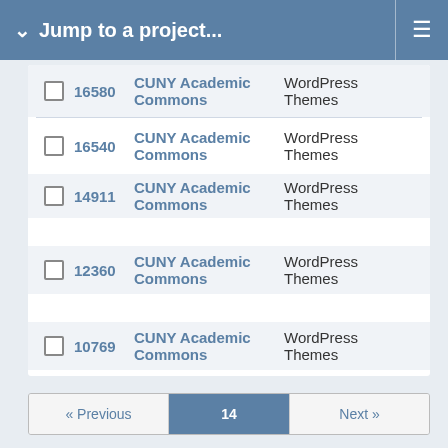Jump to a project...
16580  CUNY Academic Commons  WordPress Themes
16540  CUNY Academic Commons  WordPress Themes
14911  CUNY Academic Commons  WordPress Themes
12360  CUNY Academic Commons  WordPress Themes
10769  CUNY Academic Commons  WordPress Themes
« Previous  14  Next »